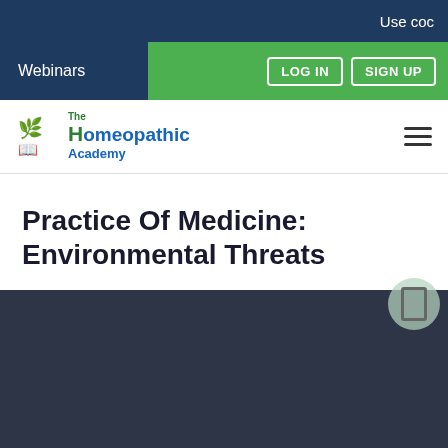Use coc
Webinars
LOG IN   SIGN UP
[Figure (logo): The Homeopathic Academy logo with green leaf icon and blue/green text]
Practice Of Medicine: Environmental Threats
[Figure (screenshot): Dark navy/charcoal video player or media embed area]